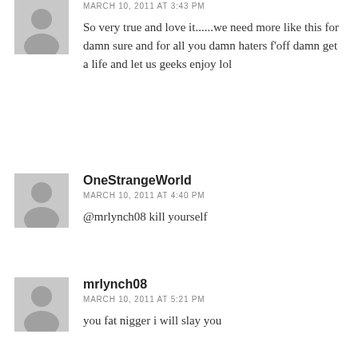MARCH 10, 2011 AT 3:43 PM
So very true and love it......we need more like this for damn sure and for all you damn haters f'off damn get a life and let us geeks enjoy lol
OneStrangeWorld
MARCH 10, 2011 AT 4:40 PM
@mrlynch08 kill yourself
mrlynch08
MARCH 10, 2011 AT 5:21 PM
you fat nigger i will slay you